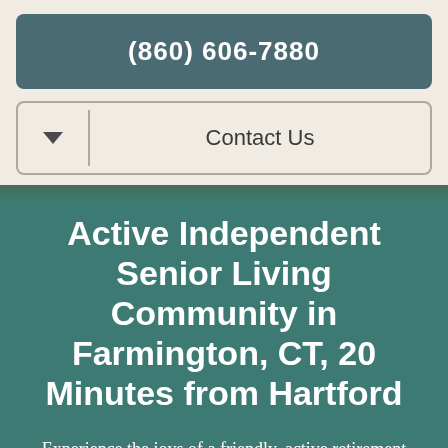(860) 606-7880
Contact Us
Active Independent Senior Living Community in Farmington, CT, 20 Minutes from Hartford
Experience the joys of a friendly, active retirement community at Holiday Village Gate of Farmington. Make friends, explore your interests